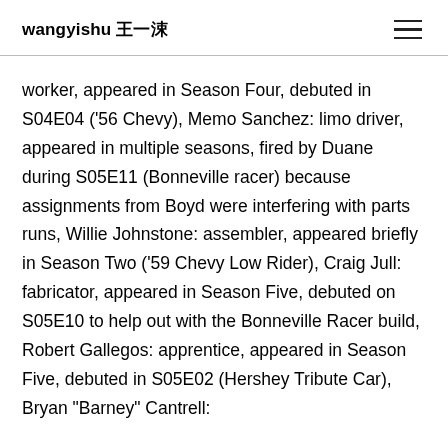wangyishu 王一淑
worker, appeared in Season Four, debuted in S04E04 ('56 Chevy), Memo Sanchez: limo driver, appeared in multiple seasons, fired by Duane during S05E11 (Bonneville racer) because assignments from Boyd were interfering with parts runs, Willie Johnstone: assembler, appeared briefly in Season Two ('59 Chevy Low Rider), Craig Jull: fabricator, appeared in Season Five, debuted on S05E10 to help out with the Bonneville Racer build, Robert Gallegos: apprentice, appeared in Season Five, debuted in S05E02 (Hershey Tribute Car), Bryan "Barney" Cantrell: